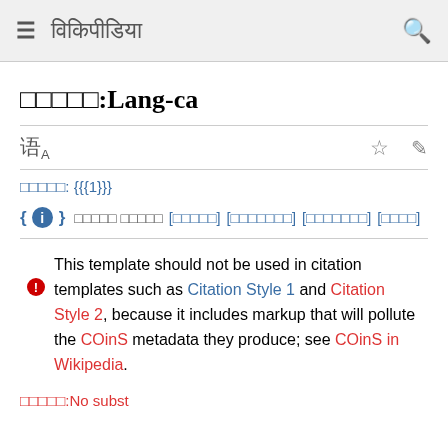≡  विकिपीडिया  🔍
□□□□□:Lang-ca
□□□□□: {{{1}}}
{{ℹ}} □□□□□ □□□□□[□□□□□] [□□□□□□□] [□□□□□□□] [□□□□]
This template should not be used in citation templates such as Citation Style 1 and Citation Style 2, because it includes markup that will pollute the COinS metadata they produce; see COinS in Wikipedia.
□□□□□:No subst